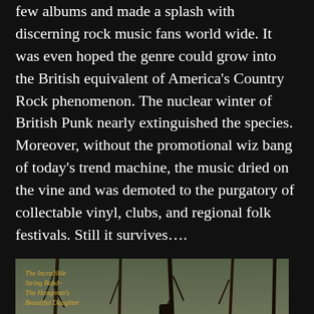few albums and made a splash with discerning rock music fans world wide. It was even hoped the genre could grow into the British equivalent of America's Country Rock phenomenon. The nuclear winter of British Punk nearly extinguished the species. Moreover, without the promotional wiz bang of today's trend machine, the music dried on the vine and was demoted to the purgatory of collectable vinyl, clubs, and regional folk festivals. Still it survives….
[Figure (photo): Album cover of The Incredible String Band - The Hangman's Beautiful Daughter, showing a group of people in bohemian/folk costumes in a wooded winter setting. Text in top-left reads 'The Incredible String Band~ The Hangman's Beautiful Daughter' in golden italic script.]